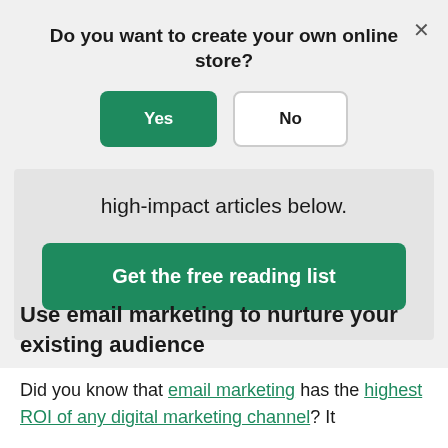Do you want to create your own online store?
Yes | No
high-impact articles below.
Get the free reading list
Use email marketing to nurture your existing audience
Did you know that email marketing has the highest ROI of any digital marketing channel? It